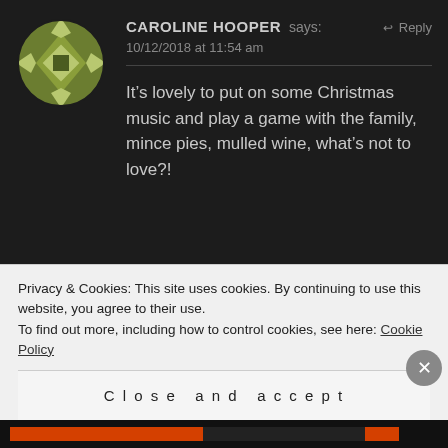[Figure (illustration): Green and white geometric/quilt pattern avatar in a circle for user Caroline Hooper]
CAROLINE HOOPER says: ↩ Reply
10/12/2018 at 11:54 am
It's lovely to put on some Christmas music and play a game with the family, mince pies, mulled wine, what's not to love?!
[Figure (illustration): Orange and white geometric/quilt pattern avatar in a circle for user P Williams]
P WILLIAMS says: ↩ Reply
Privacy & Cookies: This site uses cookies. By continuing to use this website, you agree to their use.
To find out more, including how to control cookies, see here: Cookie Policy
Close and accept